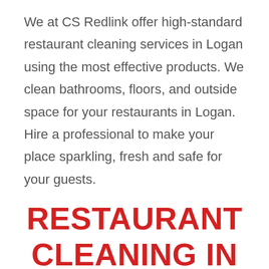We at CS Redlink offer high-standard restaurant cleaning services in Logan using the most effective products. We clean bathrooms, floors, and outside space for your restaurants in Logan. Hire a professional to make your place sparkling, fresh and safe for your guests.
RESTAURANT CLEANING IN BRISBANE
Brisbane is one of the oldest cities in Australia. It is the capital and most populous city in Queensland. Keep your